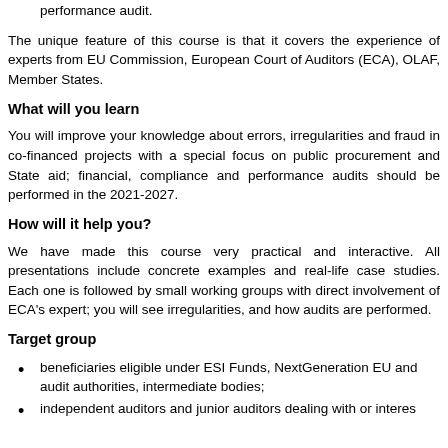performance audit.
The unique feature of this course is that it covers the experience of experts from EU Commission, European Court of Auditors (ECA), OLAF, Member States.
What will you learn
You will improve your knowledge about errors, irregularities and fraud in co-financed projects with a special focus on public procurement and State aid; financial, compliance and performance audits should be performed in the 2021-2027.
How will it help you?
We have made this course very practical and interactive. All presentations include concrete examples and real-life case studies. Each one is followed by small working groups with direct involvement of ECA's expert; you will see irregularities, and how audits are performed.
Target group
beneficiaries eligible under ESI Funds, NextGeneration EU and audit authorities, intermediate bodies;
independent auditors and junior auditors dealing with or interes